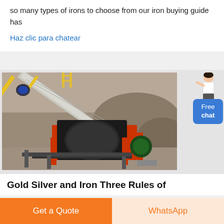so many types of irons to choose from our iron buying guide has
Haz clic para chatear
[Figure (photo): Industrial conveyor belt and magnetic separator machine with orange metal frame on an outdoor mining or quarry site, with rocky terrain in background.]
Gold Silver and Iron Three Rules of
Get a Quote
WhatsApp